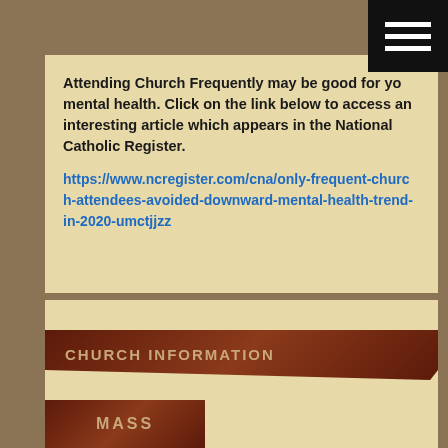[Figure (other): Hamburger menu icon (three horizontal white lines on black background) in top-right corner]
Attending Church Frequently may be good for your mental health. Click on the link below to access an interesting article which appears in the National Catholic Register.
https://www.ncregister.com/cna/only-frequent-church-attendees-avoided-downward-mental-health-trend-in-2020-umctjjzz
CHURCH INFORMATION
MASS